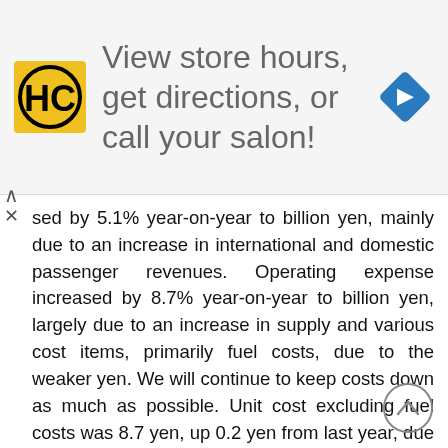[Figure (other): Advertisement banner: HC salon logo on yellow background, text 'View store hours, get directions, or call your salon!', and a blue navigation arrow icon on the right]
sed by 5.1% year-on-year to billion yen, mainly due to an increase in international and domestic passenger revenues. Operating expense increased by 8.7% year-on-year to billion yen, largely due to an increase in supply and various cost items, primarily fuel costs, due to the weaker yen. We will continue to keep costs down as much as possible. Unit cost excluding fuel costs was 8.7 yen, up 0.2 yen from last year, due to the weaker yen. We will continue to rigidly control costs. As a result, operating profit for the reporting period was billion yen, operating profit margin was 13.9%, and EBITDAR margin was 22.5%. 8